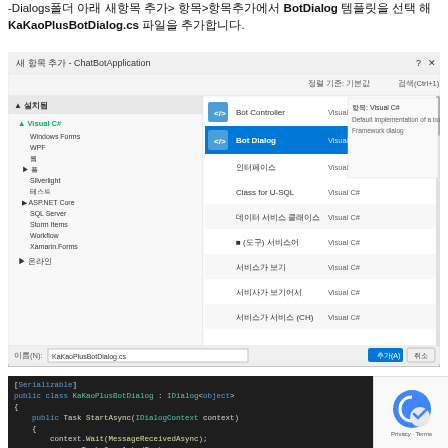-Dialogs폴더 아래 새항목 추가> 항목>항목추가에서 BotDialog 템플릿을 선택 해 KaKaoPlusBotDialog.cs 파일을 추가합니다.
[Figure (screenshot): Visual Studio '새 항목 추가 - ChatBotApplication' dialog showing template list with 'Bot Dialog' selected (highlighted in blue). Left panel shows template categories including Visual C#, Windows Forms, WPF, etc. Right panel shows description: 'Default implementation of a bot Framework dialog'. Bottom shows filename: KaKaoPlusBotDialog.cs with 추가(A) and 취소 buttons.]
[Figure (screenshot): Code snippet showing C# class definition: [Serializable] public class KaKaoPlusBotDialog : IDialog<object> with StartAsync method containing context.Wait(MessageReceivedAsync) and return Task.CompletedTask. Partially overlapped by reCAPTCHA Privacy-Terms badge.]